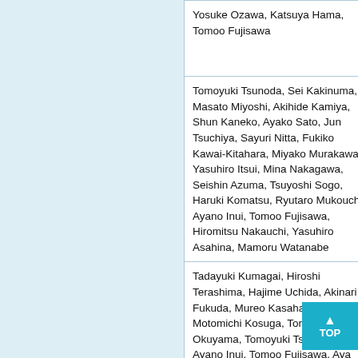| Authors | Details |
| --- | --- |
| Yosuke Ozawa, Katsuya Hama, Tomoo Fujisawa | L... p... p... |
| Tomoyuki Tsunoda, Sei Kakinuma, Masato Miyoshi, Akihide Kamiya, Shun Kaneko, Ayako Sato, Jun Tsuchiya, Sayuri Nitta, Fukiko Kawai-Kitahara, Miyako Murakawa, Yasuhiro Itsui, Mina Nakagawa, Seishin Azuma, Tsuyoshi Sogo, Haruki Komatsu, Ryutaro Mukouchi, Ayano Inui, Tomoo Fujisawa, Hiromitsu Nakauchi, Yasuhiro Asahina, Mamoru Watanabe | L... in p... p... |
| Tadayuki Kumagai, Hiroshi Terashima, Hajime Uchida, Akinari Fukuda, Mureo Kasahara, Motomichi Kosuga, Torayuki Okuyama, Tomoyuki Tsunoda, Ayano Inui, Tomoo Fujisawa, Aya Narita, Yoshikatsu Eto, Masaya Kubota | A... ty... in h... |
| Teruo Miyazaki, Hironori Nagasaka, Haruki Komatsu, Ayano Inui, Ichiro Morioka, Hirokazu Tsukahara, Shunsaku Kaji, Satoshi Hirayama, Takashi Miida, Hiroki Kondou, Kenji Ihara, Mariko Yagi, Zenro Kizaki, Kazuhiko Bessho, Takahiro Kodama, Kazumoto Iijima, Tohru Yorifuji, Yasushi Matsuzaki, Akira Honda | S... C... |